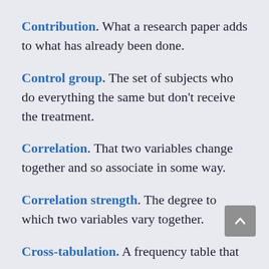Contribution. What a research paper adds to what has already been done.
Control group. The set of subjects who do everything the same but don't receive the treatment.
Correlation. That two variables change together and so associate in some way.
Correlation strength. The degree to which two variables vary together.
Cross-tabulation. A frequency table that